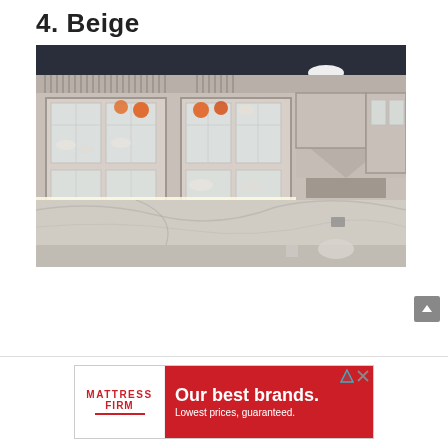4. Beige
[Figure (photo): Interior kitchen photo showing beige/grey painted cabinetry with glass-front cabinet doors, decorative crown molding, marble backsplash, and under-cabinet lighting. Dishes, bowls, and fruit visible through glass cabinet doors.]
[Figure (infographic): Advertisement for Mattress Firm reading 'Our best brands. Lowest prices, guaranteed.']